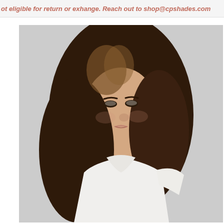ot eligible for return or exhange. Reach out to shop@cpshades.com
[Figure (photo): A woman with long curly brown hair with highlights, wearing a white short-sleeve top, photographed against a light gray background, looking slightly to the side.]